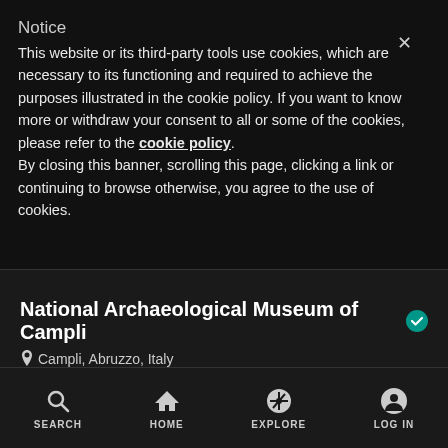Notice
This website or its third-party tools use cookies, which are necessary to its functioning and required to achieve the purposes illustrated in the cookie policy. If you want to know more or withdraw your consent to all or some of the cookies, please refer to the cookie policy.
By closing this banner, scrolling this page, clicking a link or continuing to browse otherwise, you agree to the use of cookies.
National Archaeological Museum of Campli
Campli, Abruzzo, Italy
GO TO INSTITUTION
SEARCH  HOME  EXPLORE  LOG IN